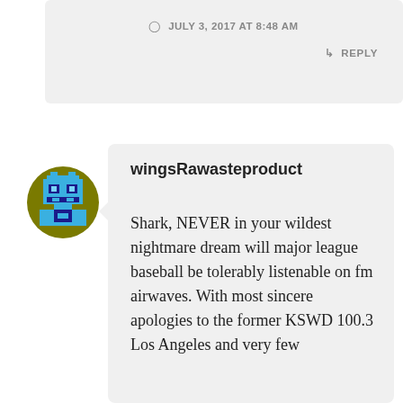JULY 3, 2017 AT 8:48 AM
↳ REPLY
[Figure (illustration): Pixel art avatar of a robot/character with blue color on olive/dark yellow circular background]
wingsRawasteproduct
Shark, NEVER in your wildest nightmare dream will major league baseball be tolerably listenable on fm airwaves. With most sincere apologies to the former KSWD 100.3 Los Angeles and very few